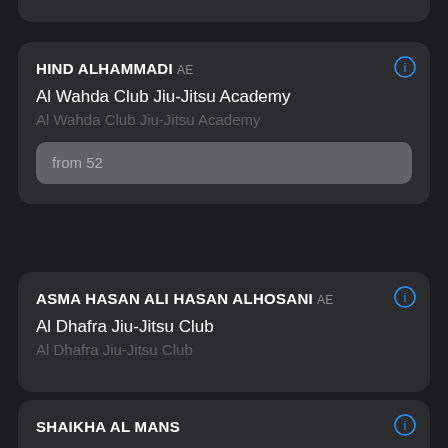HIND ALHAMMADI AE | Al Wahda Club Jiu-Jitsu Academy | Al Wahda Club Jiu-Jitsu Academy | from 52
ASMA HASAN ALI HASAN ALHOSANI AE | Al Dhafra Jiu-Jitsu Club | Al Dhafra Jiu-Jitsu Club
SHAIKHA AL MANSOORI (partial)